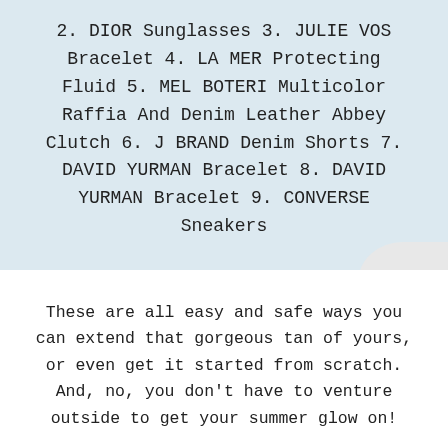2. DIOR Sunglasses 3. JULIE VOS Bracelet 4. LA MER Protecting Fluid 5. MEL BOTERI Multicolor Raffia And Denim Leather Abbey Clutch 6. J BRAND Denim Shorts 7. DAVID YURMAN Bracelet 8. DAVID YURMAN Bracelet 9. CONVERSE Sneakers
These are all easy and safe ways you can extend that gorgeous tan of yours, or even get it started from scratch. And, no, you don't have to venture outside to get your summer glow on!
A couple of weeks ago we gave you some pointers on